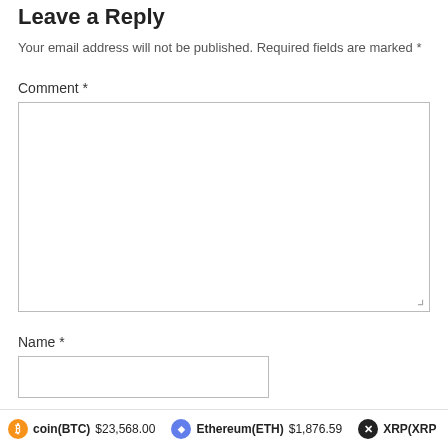Leave a Reply
Your email address will not be published. Required fields are marked *
Comment *
Name *
coin(BTC) $23,568.00   Ethereum(ETH) $1,876.59   XRP(XRP